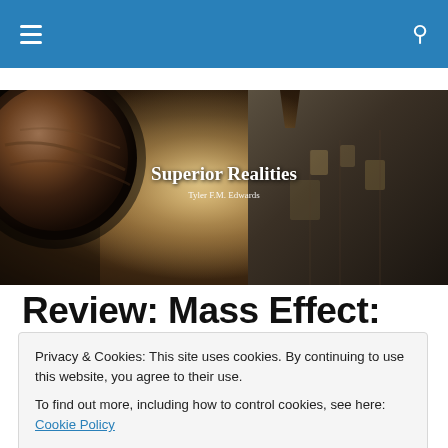Navigation bar with hamburger menu and search icon
[Figure (illustration): Superior Realities blog banner image featuring a large rocky planet on the left, a glowing nebula in the center, and a dark fantasy building/castle on the right with the text 'Superior Realities' and 'Tyler F.M. Edwards']
Review: Mass Effect: Andromeda: Initiation
Privacy & Cookies: This site uses cookies. By continuing to use this website, you agree to their use.
To find out more, including how to control cookies, see here: Cookie Policy
[Close and accept]